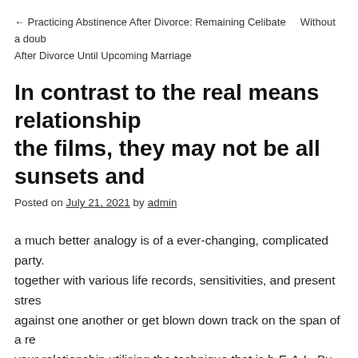← Practicing Abstinence After Divorce: Remaining Celibate    Without a doubt After Divorce Until Upcoming Marriage
In contrast to the real means relationships the films, they may not be all sunsets and
Posted on July 21, 2021 by admin
a much better analogy is of a ever-changing, complicated party. together with various life records, sensitivities, and present stress against one another or get blown down track on the span of a re your relationship utilising the technique that is h-E-A-L. By Hea and Loving, you're earnestly reaching for the partner and letting matter and also you worry. This would produce HEALING pow to wellness.
The way I got my fan straight straight back